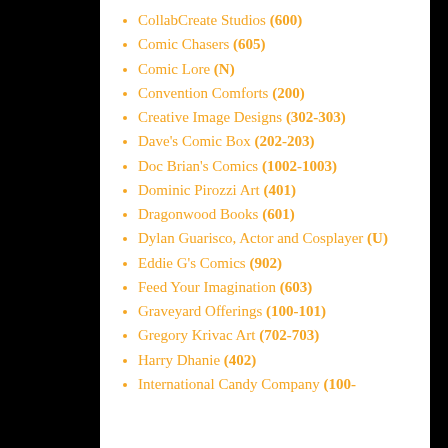CollabCreate Studios (600)
Comic Chasers (605)
Comic Lore (N)
Convention Comforts (200)
Creative Image Designs (302-303)
Dave's Comic Box (202-203)
Doc Brian's Comics (1002-1003)
Dominic Pirozzi Art (401)
Dragonwood Books (601)
Dylan Guarisco, Actor and Cosplayer (U)
Eddie G's Comics (902)
Feed Your Imagination (603)
Graveyard Offerings (100-101)
Gregory Krivac Art (702-703)
Harry Dhanie (402)
International Candy Company (100-